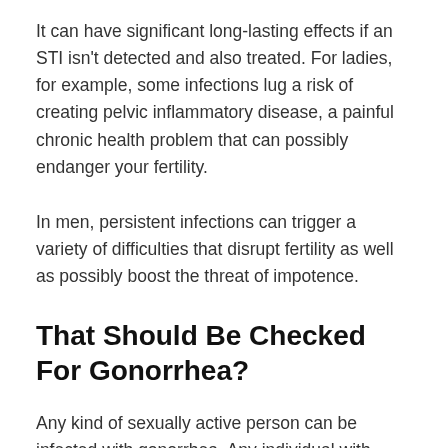It can have significant long-lasting effects if an STI isn't detected and also treated. For ladies, for example, some infections lug a risk of creating pelvic inflammatory disease, a painful chronic health problem that can possibly endanger your fertility.
In men, persistent infections can trigger a variety of difficulties that disrupt fertility as well as possibly boost the threat of impotence.
That Should Be Checked For Gonorrhea?
Any kind of sexually active person can be infected with gonorrhea. Any individual with genital signs and symptoms such as discharge